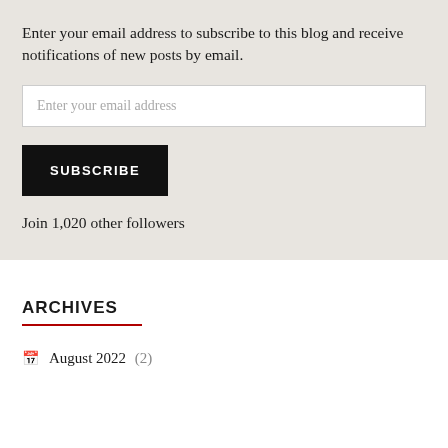Enter your email address to subscribe to this blog and receive notifications of new posts by email.
Enter your email address
SUBSCRIBE
Join 1,020 other followers
ARCHIVES
August 2022 (2)